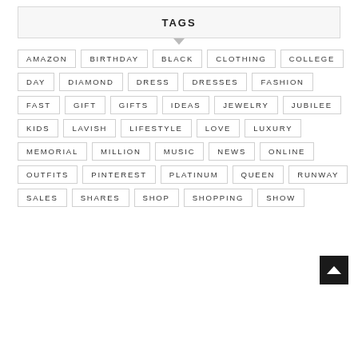TAGS
AMAZON
BIRTHDAY
BLACK
CLOTHING
COLLEGE
DAY
DIAMOND
DRESS
DRESSES
FASHION
FAST
GIFT
GIFTS
IDEAS
JEWELRY
JUBILEE
KIDS
LAVISH
LIFESTYLE
LOVE
LUXURY
MEMORIAL
MILLION
MUSIC
NEWS
ONLINE
OUTFITS
PINTEREST
PLATINUM
QUEEN
RUNWAY
SALES
SHARES
SHOP
SHOPPING
SHOW